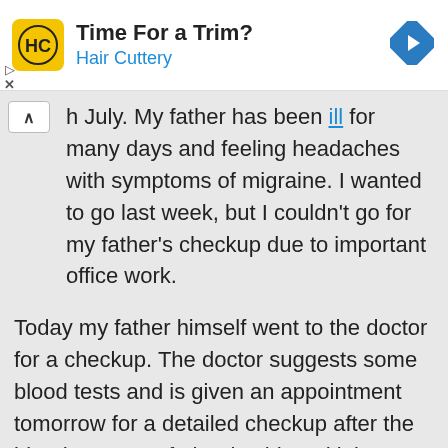[Figure (logo): Hair Cuttery advertisement banner with HC logo in yellow square, title 'Time For a Trim?' and subtitle 'Hair Cuttery' in blue, with navigation arrow icon]
h July. My father has been ill for many days and feeling headaches with symptoms of migraine. I wanted to go last week, but I couldn't go for my father's checkup due to important office work.
Today my father himself went to the doctor for a checkup. The doctor suggests some blood tests and is given an appointment tomorrow for a detailed checkup after the blood tests. My father is old, and it is not feasible for him to move alone anywhere.